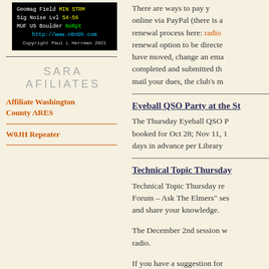[Figure (screenshot): Geomagnetic field status display showing MIN STRM, Sig Noise Lvl S4-S6, MUF US Boulder NoRpt, website http://www.n0nbh.com, Copyright Paul L Herrman 2021]
SARA AFILIATES
Affiliate Washington County ARES
W0JH Repeater
There are ways to pay your online via PayPal (there is a renewal process here: radio renewal option to be directed have moved, change an email completed and submitted th mail your dues, the club's m
Eyeball QSO Party at the St
The Thursday Eyeball QSO P booked for Oct 28; Nov 11, 1 days in advance per Library
Technical Topic Thursday
Technical Topic Thursday re Forum – Ask The Elmers" ses and share your knowledge.
The December 2nd session w radio.
If you have a suggestion for com. We're always looking f